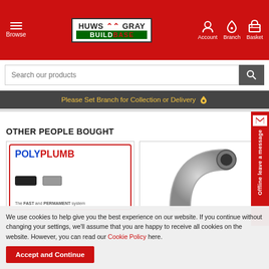Huws Gray Buildbase – Browse | Account | Branch | Basket
Search our products
Please Set Branch for Collection or Delivery
OTHER PEOPLE BOUGHT
[Figure (photo): PolyPlumb product card showing pipe inserts and text 'The FAST and PERMAMENT system']
[Figure (photo): Gray plastic pipe elbow/bend fitting]
We use cookies to help give you the best experience on our website. If you continue without changing your settings, we'll assume that you are happy to receive all cookies on the website. However, you can read our Cookie Policy here.
Accept and Continue